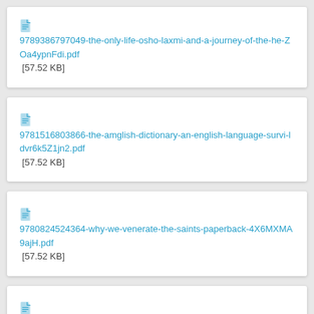9789386797049-the-only-life-osho-laxmi-and-a-journey-of-the-he-ZOa4ypnFdi.pdf [57.52 KB]
9781516803866-the-amglish-dictionary-an-english-language-survi-ldvr6k5Z1jn2.pdf [57.52 KB]
9780824524364-why-we-venerate-the-saints-paperback-4X6MXMA9ajH.pdf [57.52 KB]
9781540684684-path-of-shadows-paperback-C9zSHmvLApo.pdf [57.52 KB]